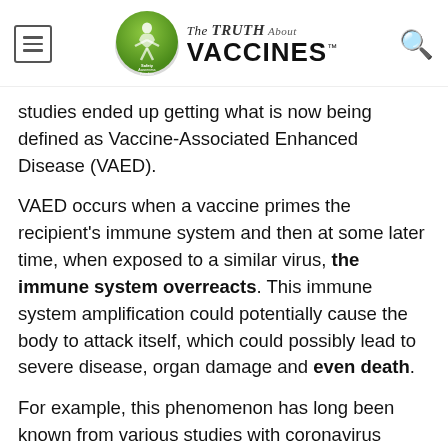The Truth About Vaccines
studies ended up getting what is now being defined as Vaccine-Associated Enhanced Disease (VAED).
VAED occurs when a vaccine primes the recipient's immune system and then at some later time, when exposed to a similar virus, the immune system overreacts. This immune system amplification could potentially cause the body to attack itself, which could possibly lead to severe disease, organ damage and even death.
For example, this phenomenon has long been known from various studies with coronavirus vaccines in cats. After the initially released the